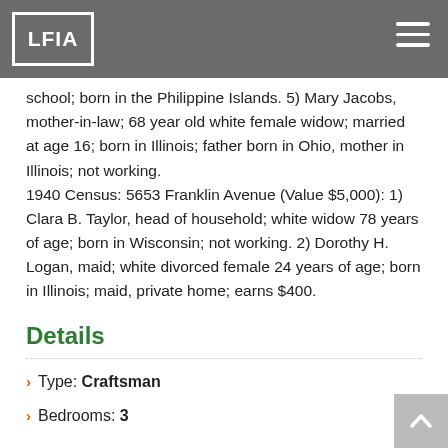LFIA
Jr., son; 17 year old single white female; in school; born in Illinois. 4) Barbara L. Vidor, daughter; 12 year old white female; in school; born in the Philippine Islands. 5) Mary Jacobs, mother-in-law; 68 year old white female widow; married at age 16; born in Illinois; father born in Ohio, mother in Illinois; not working. 1940 Census: 5653 Franklin Avenue (Value $5,000): 1) Clara B. Taylor, head of household; white widow 78 years of age; born in Wisconsin; not working. 2) Dorothy H. Logan, maid; white divorced female 24 years of age; born in Illinois; maid, private home; earns $400.
Details
Type: Craftsman
Bedrooms: 3